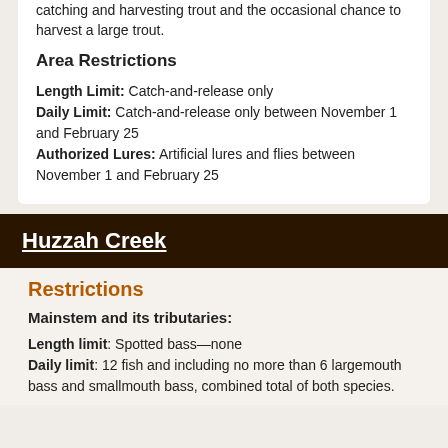catching and harvesting trout and the occasional chance to harvest a large trout.
Area Restrictions
Length Limit: Catch-and-release only
Daily Limit: Catch-and-release only between November 1 and February 25
Authorized Lures: Artificial lures and flies between November 1 and February 25
Huzzah Creek
Restrictions
Mainstem and its tributaries:
Length limit: Spotted bass—none
Daily limit: 12 fish and including no more than 6 largemouth bass and smallmouth bass, combined total of both species.